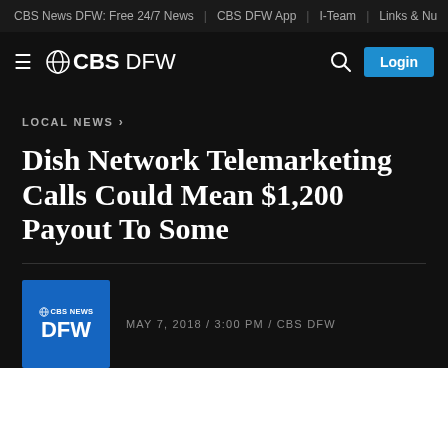CBS News DFW: Free 24/7 News | CBS DFW App | I-Team | Links & Nu
[Figure (logo): CBS DFW navigation bar with hamburger menu, CBS eye logo, CBS DFW text, search icon, and Login button]
LOCAL NEWS
Dish Network Telemarketing Calls Could Mean $1,200 Payout To Some
MAY 7, 2018 / 3:00 PM / CBS DFW